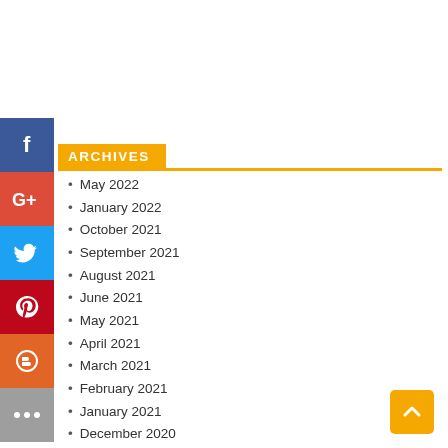ARCHIVES
May 2022
January 2022
October 2021
September 2021
August 2021
June 2021
May 2021
April 2021
March 2021
February 2021
January 2021
December 2020
September 2020